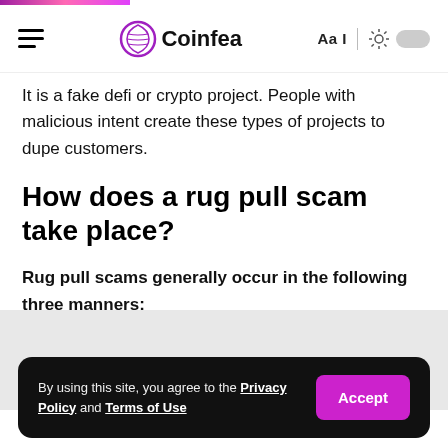Coinfea
It is a fake defi or crypto project. People with malicious intent create these types of projects to dupe customers.
How does a rug pull scam take place?
Rug pull scams generally occur in the following three manners:
[Figure (other): Gray advertisement or content placeholder block]
By using this site, you agree to the Privacy Policy and Terms of Use